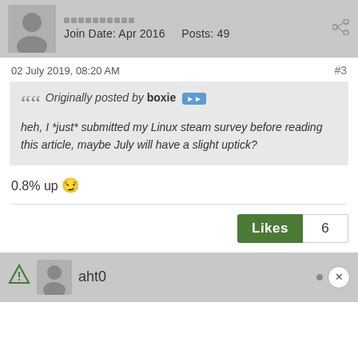Join Date: Apr 2016  Posts: 49
02 July 2019, 08:20 AM  #3
Originally posted by boxie
heh, I *just* submitted my Linux steam survey before reading this article, maybe July will have a slight uptick?
0.8% up 😉
Likes 6
aht0